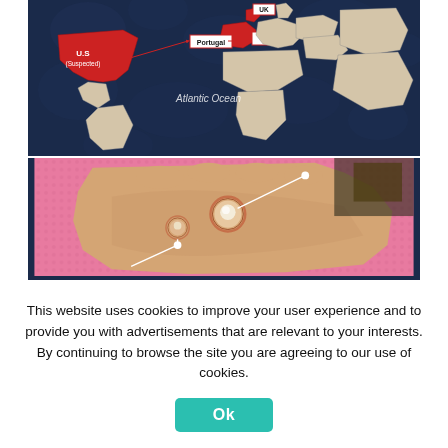[Figure (map): World map showing monkeypox outbreak locations highlighted in red: U.S. (Suspected), Portugal, Spain, UK, and other European countries, over a dark navy blue ocean background labeled Atlantic Ocean.]
[Figure (photo): Close-up photograph of a human hand showing monkeypox lesions/blisters on the skin, resting on a pink textured surface, with white pointer lines indicating the lesions.]
This website uses cookies to improve your user experience and to provide you with advertisements that are relevant to your interests. By continuing to browse the site you are agreeing to our use of cookies.